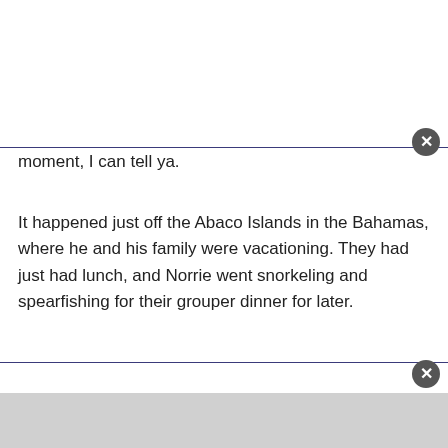moment, I can tell ya.
It happened just off the Abaco Islands in the Bahamas, where he and his family were vacationing. They had just had lunch, and Norrie went snorkeling and spearfishing for their grouper dinner for later.
“After I had speared the grouper, I was swimming back toward the boat to put them in the cooler and I was probably in about five feet of water,” Norrie recalled. “And all of the sudden I felt this [crunch] on the back of my leg. And just as…